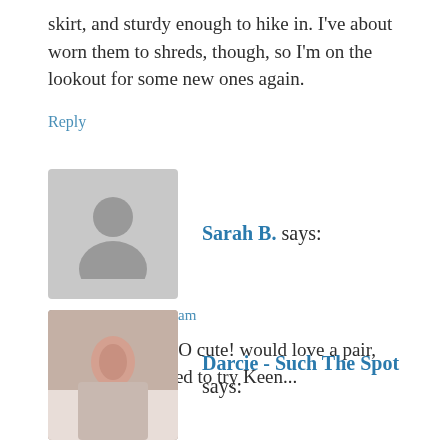skirt, and sturdy enough to hike in. I've about worn them to shreds, though, so I'm on the lookout for some new ones again.
Reply
[Figure (illustration): Gray placeholder avatar icon showing a silhouette of a person]
Sarah B. says:
July 12, 2010 at 9:25 am
those shoes are SO cute! would love a pair, I've always wanted to try Keen...
Reply
[Figure (photo): Profile photo of Darcie, a woman with brown hair]
Darcie - Such The Spot says: